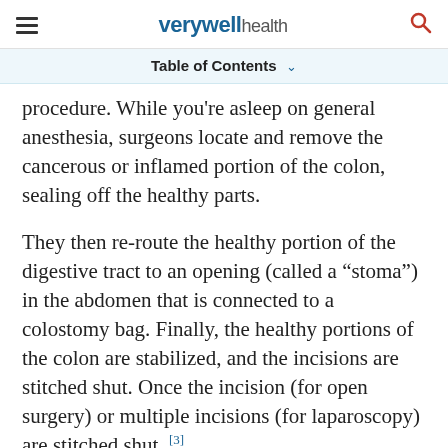verywell health
Table of Contents
procedure. While you’re asleep on general anesthesia, surgeons locate and remove the cancerous or inflamed portion of the colon, sealing off the healthy parts.
They then re-route the healthy portion of the digestive tract to an opening (called a “stoma”) in the abdomen that is connected to a colostomy bag. Finally, the healthy portions of the colon are stabilized, and the incisions are stitched shut. Once the incision (for open surgery) or multiple incisions (for laparoscopy) are stitched shut. [3]
[Figure (other): Advertisement placeholder banner with repeating circular/oval grey shapes pattern]